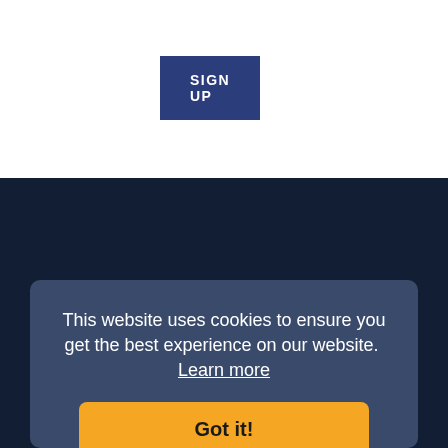[Figure (other): Sign Up button — dark navy blue rectangular button with white bold uppercase text 'SIGN UP']
HOTELS
EVENTS
THINGS TO DO
RESTAURANTS
MEETINGS
This website uses cookies to ensure you get the best experience on our website.  Learn more
Got it!